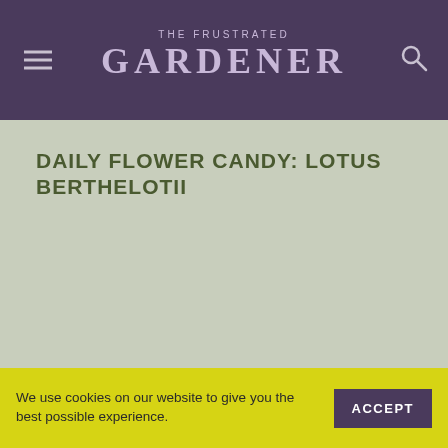THE FRUSTRATED GARDENER
DAILY FLOWER CANDY: LOTUS BERTHELOTII
We use cookies on our website to give you the best possible experience.